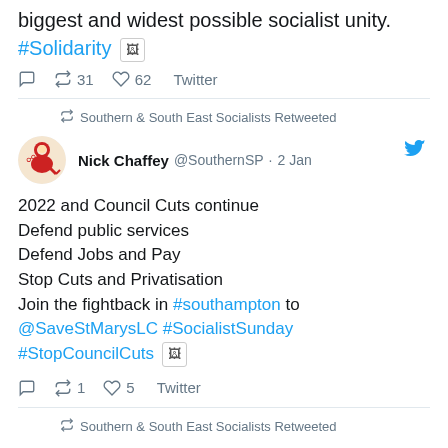biggest and widest possible socialist unity. #Solidarity [image]
reply  retweet 31  like 62  Twitter
Southern & South East Socialists Retweeted
Nick Chaffey @SouthernSP · 2 Jan
2022 and Council Cuts continue
Defend public services
Defend Jobs and Pay
Stop Cuts and Privatisation
Join the fightback in #southampton to @SaveStMarysLC #SocialistSunday #StopCouncilCuts [image]
reply  retweet 1  like 5  Twitter
Southern & South East Socialists Retweeted